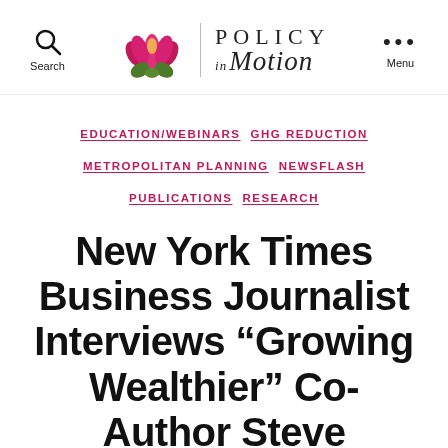Search | Policy in Motion | Menu
EDUCATION/WEBINARS  GHG REDUCTION  METROPOLITAN PLANNING  NEWSFLASH  PUBLICATIONS  RESEARCH
New York Times Business Journalist Interviews “Growing Wealthier” Co-Author Steve Winkelman